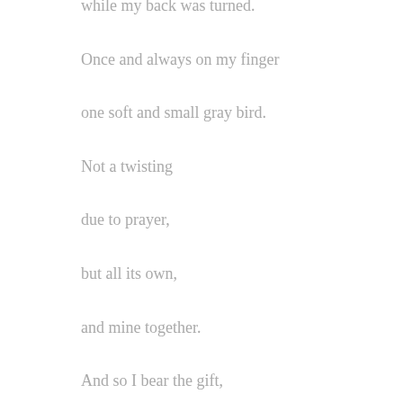while my back was turned.
Once and always on my finger
one soft and small gray bird.
Not a twisting
due to prayer,
but all its own,
and mine together.
And so I bear the gift,
carry it through time–